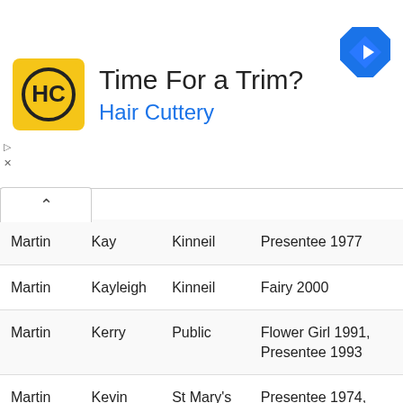[Figure (logo): Hair Cuttery HC logo — yellow square with HC in black circle]
Time For a Trim?
Hair Cuttery
| Martin | Kay | Kinneil | Presentee 1977 |
| Martin | Kayleigh | Kinneil | Fairy 2000 |
| Martin | Kerry | Public | Flower Girl 1991, Presentee 1993 |
| Martin | Kevin | St Mary's | Presentee 1974, Presentee 1979 |
| Martin | Kirsty | St Mary's | Fairy 1992, Presentee 1993, Presentee 1995, Presentee 1997 |
| Martin | Laura | Grange | Flower Girl |